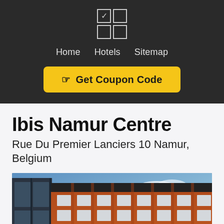[Figure (logo): App icon grid logo with a checked top-left square and three empty squares in a 2x2 grid]
Home   Hotels   Sitemap
☞ Get Coupon Code
Ibis Namur Centre
Rue Du Premier Lanciers 10 Namur, Belgium
[Figure (photo): Exterior photo of the Ibis Namur Centre hotel building, a red brick multi-storey building with windows and a blue sky background]